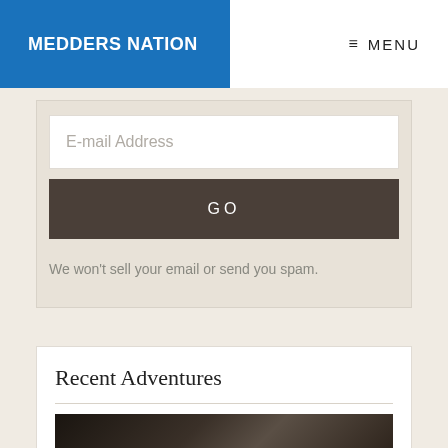MEDDERS NATION | MENU
E-mail Address
GO
We won't sell your email or send you spam.
Recent Adventures
[Figure (photo): Photo of people partially visible at bottom of page]